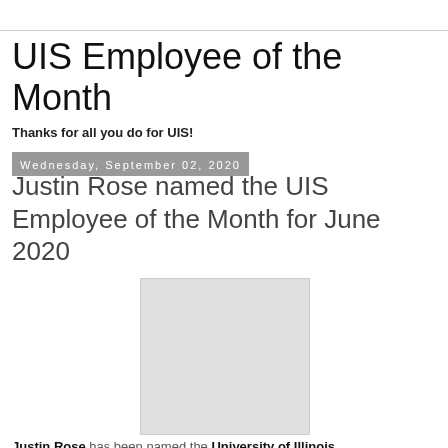UIS Employee of the Month
Thanks for all you do for UIS!
Wednesday, September 02, 2020
Justin Rose named the UIS Employee of the Month for June 2020
[Figure (photo): Photo placeholder for Justin Rose]
Justin Rose has been named the University of Illinois